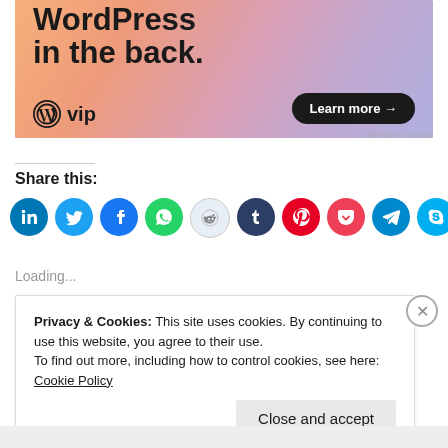[Figure (illustration): WordPress VIP advertisement banner with colorful gradient background (orange, pink, purple), bold text 'WordPress in the back.' with WordPress VIP logo and 'Learn more →' button]
REPORT THIS AD
Share this:
[Figure (infographic): Row of 10 circular social media share icons: LinkedIn (blue), Twitter (light blue), Facebook (blue), WhatsApp (green), Reddit (light blue/grey), Tumblr (dark navy), Pinterest (red), Pocket (dark red), Telegram (teal), Skype (light blue)]
Loading...
Privacy & Cookies: This site uses cookies. By continuing to use this website, you agree to their use.
To find out more, including how to control cookies, see here: Cookie Policy
Close and accept